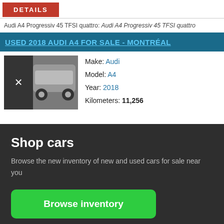DETAILS
Audi A4 Progressiv 45 TFSI quattro: Audi A4 Progressiv 45 TFSI quattro
USED 2018 AUDI A4 FOR SALE - MONTRÉAL
[Figure (photo): Photo of a grey Audi A4 car with a dark overlay on the left side showing an X mark]
Make: Audi
Model: A4
Year: 2018
Kilometers: 11,256
Shop cars
Browse the new inventory of new and used cars for sale near you
Browse inventory